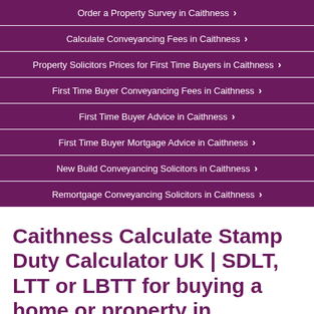Order a Property Survey in Caithness ›
Calculate Conveyancing Fees in Caithness ›
Property Solicitors Prices for First Time Buyers in Caithness ›
First Time Buyer Conveyancing Fees in Caithness ›
First Time Buyer Advice in Caithness ›
First Time Buyer Mortgage Advice in Caithness ›
New Build Conveyancing Solicitors in Caithness ›
Remortgage Conveyancing Solicitors in Caithness ›
Caithness Calculate Stamp Duty Calculator UK | SDLT, LTT or LBTT for buying a home or property in